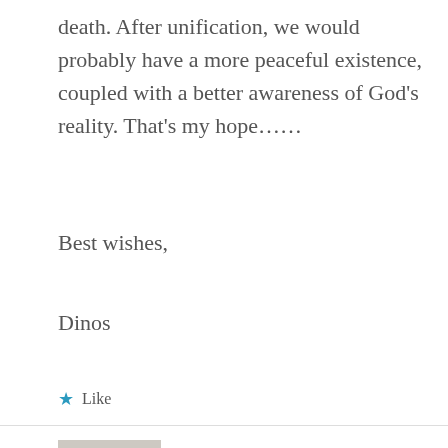death. After unification, we would probably have a more peaceful existence, coupled with a better awareness of God's reality. That's my hope……
Best wishes,
Dinos
★ Like
Steven Colborne says:
Aug 3, 2014 at 7:32 pm
Dear Dinos,
It's lovely to hear from you, my friend! Many